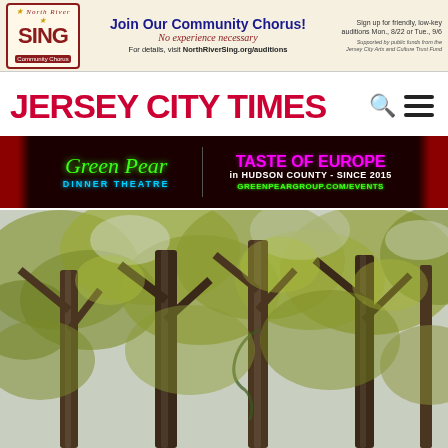[Figure (infographic): North River Sing Community Chorus banner ad. Logo with red border, stars, SING in large red letters, Community Chorus subtitle. Text: Join Our Community Chorus! No experience necessary. For details, visit NorthRiverSing.org/auditions. Sign up for friendly, low-key auditions Mon., 8/22 or Tue., 9/6. Supported by public funds from the Jersey City Arts and Culture Trust Fund.]
JERSEY CITY TIMES
[Figure (infographic): Green Pear Dinner Theatre banner ad on dark red curtain background. Green neon script: Green Pear. Cyan text: DINNER THEATRE. Magenta bold text: TASTE OF EUROPE. White text: in HUDSON COUNTY - SINCE 2015. Green text: GREENPEARGROUP.COM/EVENTS]
[Figure (photo): Looking up through deciduous tree canopy with autumn yellow-green leaves against a grey-white sky, multiple tree trunks visible.]